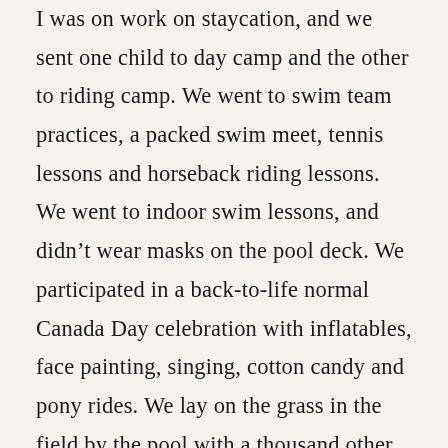I was on work on staycation, and we sent one child to day camp and the other to riding camp. We went to swim team practices, a packed swim meet, tennis lessons and horseback riding lessons. We went to indoor swim lessons, and didn't wear masks on the pool deck. We participated in a back-to-life normal Canada Day celebration with inflatables, face painting, singing, cotton candy and pony rides. We lay on the grass in the field by the pool with a thousand other happy people, watching the fireworks in the sky above; we screamed with joy along with everyone else. We lifted our voices in peace and gratitude for surviving, for finding this moment in time when life once again felt like it used to.